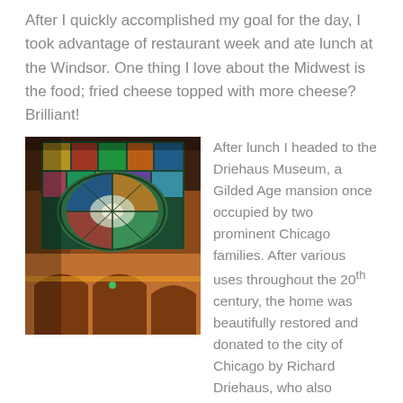After I quickly accomplished my goal for the day, I took advantage of restaurant week and ate lunch at the Windsor. One thing I love about the Midwest is the food; fried cheese topped with more cheese? Brilliant!
[Figure (photo): Interior photo looking up at a colorful stained glass dome ceiling in the Driehaus Museum, with amber-lit arches below.]
After lunch I headed to the Driehaus Museum, a Gilded Age mansion once occupied by two prominent Chicago families. After various uses throughout the 20th century, the home was beautifully restored and donated to the city of Chicago by Richard Driehaus, who also sponsors a prize in classical architecture through Notre Dame. After my tour, I had an awesome conversation with my tour guide,